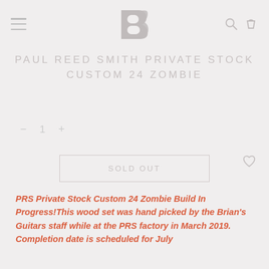Navigation header with hamburger menu, B logo, search and cart icons
PAUL REED SMITH PRIVATE STOCK CUSTOM 24 ZOMBIE
— 1 +
SOLD OUT
PRS Private Stock Custom 24 Zombie Build In Progress!This wood set was hand picked by the Brian's Guitars staff while at the PRS factory in March 2019. Completion date is scheduled for July